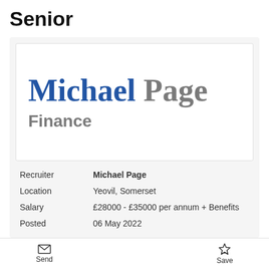Senior
[Figure (logo): Michael Page Finance recruiter logo — 'Michael' in bold blue serif, 'Page' in bold grey serif, 'Finance' in bold grey sans-serif below]
| Recruiter | Michael Page |
| Location | Yeovil, Somerset |
| Salary | £28000 - £35000 per annum + Benefits |
| Posted | 06 May 2022 |
Send   Save